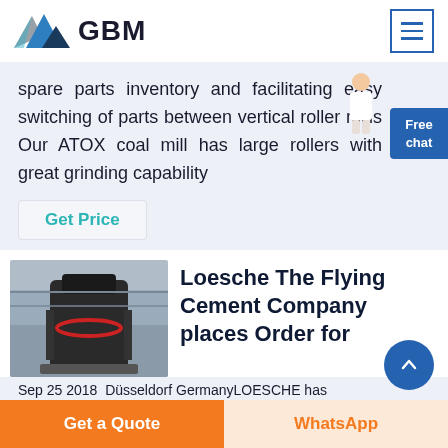GBM
spare parts inventory and facilitating easy switching of parts between vertical roller mills Our ATOX coal mill has large rollers with great grinding capability
Get Price
[Figure (photo): Industrial vertical roller mill or cement grinding machine in a factory hall]
Loesche The Flying Cement Company places Order for
Sep 25 2018  Düsseldorf GermanyLOESCHE has
Get a Quote
WhatsApp